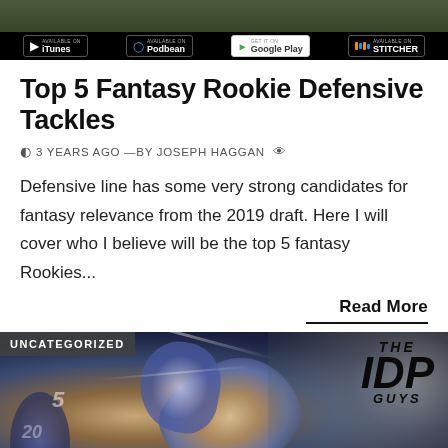[Figure (screenshot): Top banner image showing a football field scene with app store badges for iTunes, Podbean, Google Play, and Stitcher]
Top 5 Fantasy Rookie Defensive Tackles
© 3 YEARS AGO —BY JOSEPH HAGGAN 👁
Defensive line has some very strong candidates for fantasy relevance from the 2019 draft. Here I will cover who I believe will be the top 5 fantasy Rookies...
Read More
[Figure (photo): Football players in action with stylized artistic filter. UNCATEGORIZED badge in top left. THE IDP GUYS logo in top right.]